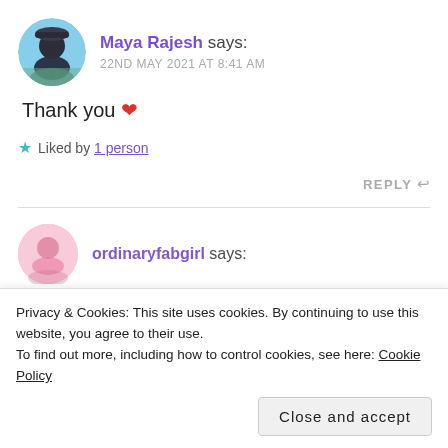Maya Rajesh says: 22ND MAY 2021 AT 8:41 AM
Thank you ❤
★ Liked by 1 person
REPLY ↩
ordinaryfabgirl says:
Privacy & Cookies: This site uses cookies. By continuing to use this website, you agree to their use.
To find out more, including how to control cookies, see here: Cookie Policy
Close and accept